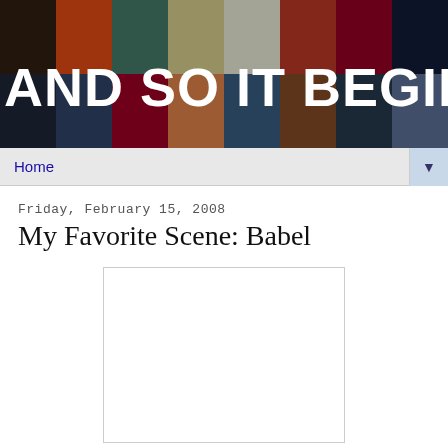[Figure (photo): Blog header banner with mosaic of movie scene thumbnails and white bold text overlay reading 'AND SO IT BEGINS...']
Home
Friday, February 15, 2008
My Favorite Scene: Babel
[Figure (screenshot): Embedded video player placeholder (white box with light border)]